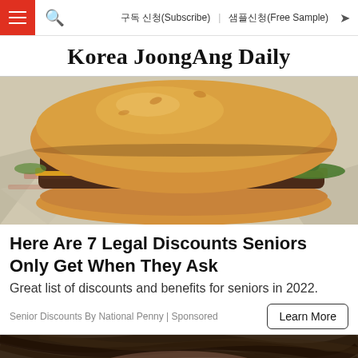구독 신청(Subscribe) 샘플신청(Free Sample)
Korea JoongAng Daily
[Figure (photo): A double cheeseburger with melted cheese and pickles, sitting on white deli paper with red logo marks]
Here Are 7 Legal Discounts Seniors Only Get When They Ask
Great list of discounts and benefits for seniors in 2022.
Senior Discounts By National Penny | Sponsored
[Figure (photo): Partial photo of a person's hair visible at the bottom of the page]